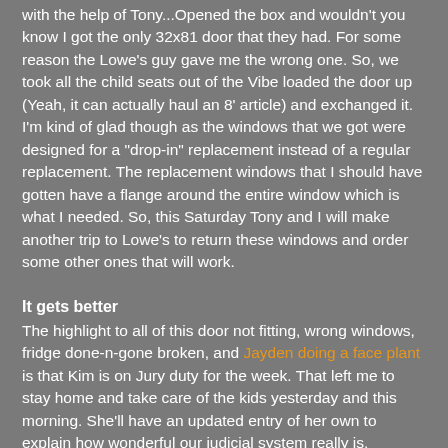with the help of Tony...Opened the box and wouldn't you know I got the only 32x81 door that they had. For some reason the Lowe's guy gave me the wrong one. So, we took all the child seats out of the Vibe loaded the door up (Yeah, it can actually haul an 8' article) and exchanged it. I'm kind of glad though as the windows that we got were designed for a "drop-in" replacement instead of a regular replacement. The replacement windows that I should have gotten have a flange around the entire window which is what I needed. So, this Saturday Tony and I will make another trip to Lowe's to return these windows and order some other ones that will work.
It gets better
The highlight to all of this door not fitting, wrong windows, fridge done-n-gone broken, and Jayden doing a face plant is that Kim is on Jury duty for the week. That left me to stay home and take care of the kids yesterday and this morning. She'll have an updated entry of her own to explain how wonderful our judicial system really is.
It's okay now